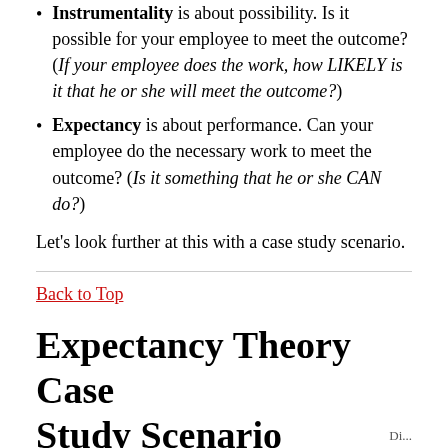Instrumentality is about possibility. Is it possible for your employee to meet the outcome? (If your employee does the work, how LIKELY is it that he or she will meet the outcome?)
Expectancy is about performance. Can your employee do the necessary work to meet the outcome? (Is it something that he or she CAN do?)
Let's look further at this with a case study scenario.
Back to Top
Expectancy Theory Case Study Scenario
Di... d...